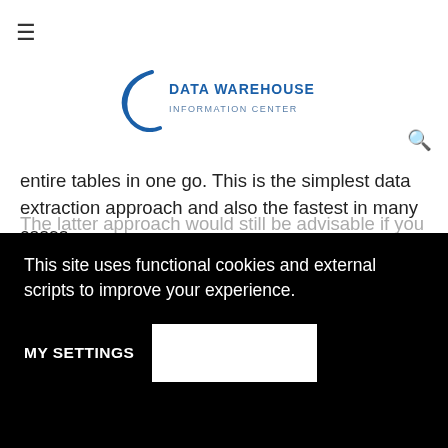≡
[Figure (logo): Data Warehouse Information Center logo with circular arc and text]
entire tables in one go. This is the simplest data extraction approach and also the fastest in many cases.
Let's say your source database has 500 or so records. It would probably be faster to use the SELECT and
This site uses functional cookies and external scripts to improve your experience.
MY SETTINGS
The latter approach would still be advisable if you